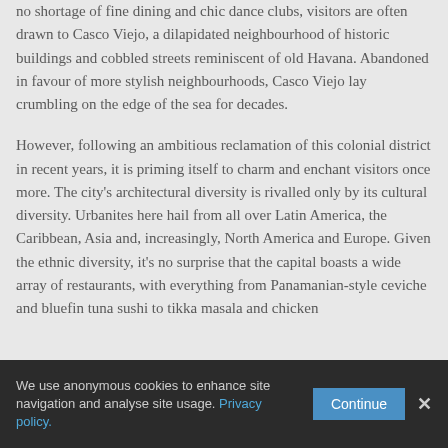no shortage of fine dining and chic dance clubs, visitors are often drawn to Casco Viejo, a dilapidated neighbourhood of historic buildings and cobbled streets reminiscent of old Havana. Abandoned in favour of more stylish neighbourhoods, Casco Viejo lay crumbling on the edge of the sea for decades.
However, following an ambitious reclamation of this colonial district in recent years, it is priming itself to charm and enchant visitors once more. The city's architectural diversity is rivalled only by its cultural diversity. Urbanites here hail from all over Latin America, the Caribbean, Asia and, increasingly, North America and Europe. Given the ethnic diversity, it's no surprise that the capital boasts a wide array of restaurants, with everything from Panamanian-style ceviche and bluefin tuna sushi to tikka masala and chicken
We use anonymous cookies to enhance site navigation and analyse site usage. Privacy policy.